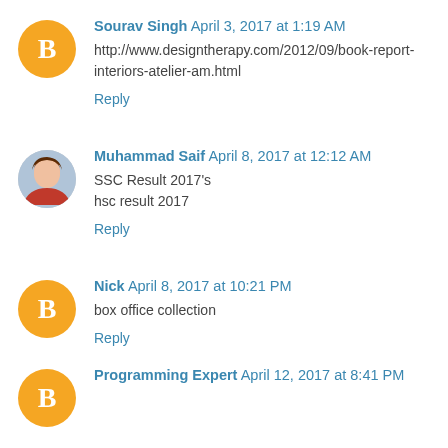Sourav Singh April 3, 2017 at 1:19 AM
http://www.designtherapy.com/2012/09/book-report-interiors-atelier-am.html
Reply
Muhammad Saif April 8, 2017 at 12:12 AM
SSC Result 2017's
hsc result 2017
Reply
Nick April 8, 2017 at 10:21 PM
box office collection
Reply
Programming Expert April 12, 2017 at 8:41 PM